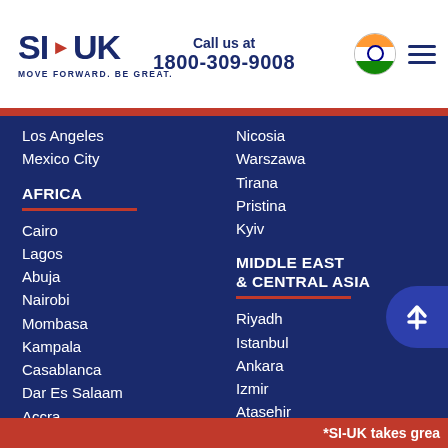SI-UK MOVE FORWARD. BE GREAT. | Call us at 1800-309-9008
Los Angeles
Mexico City
AFRICA
Cairo
Lagos
Abuja
Nairobi
Mombasa
Kampala
Casablanca
Dar Es Salaam
Accra
SOUTH ASIA
New Delhi - CP
New Delhi - Nehru Place
Mumbai
Bangalore
Chennai
Nicosia
Warszawa
Tirana
Pristina
Kyiv
MIDDLE EAST & CENTRAL ASIA
Riyadh
Istanbul
Ankara
Izmir
Atasehir
Denizli
Tashkent
Almaty
Baku
Dubai
ASIA PACIFIC
*SI-UK takes grea